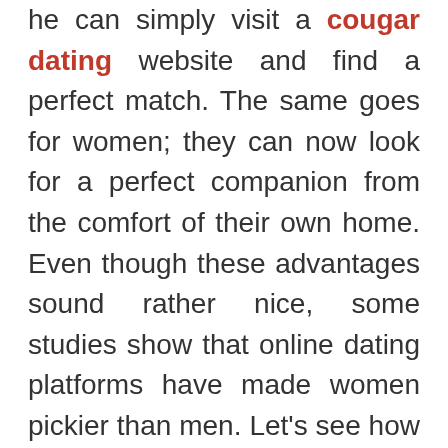he can simply visit a cougar dating website and find a perfect match. The same goes for women; they can now look for a perfect companion from the comfort of their own home. Even though these advantages sound rather nice, some studies show that online dating platforms have made women pickier than men. Let's see how and why.